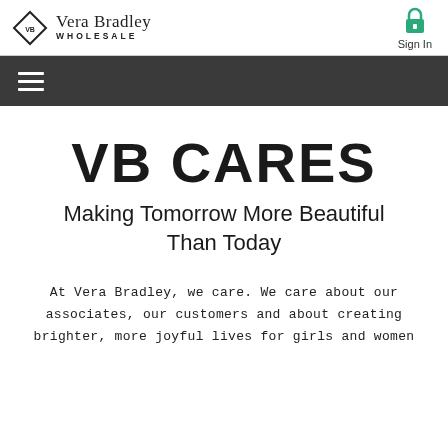Vera Bradley WHOLESALE | Sign In
VB CARES
Making Tomorrow More Beautiful Than Today
At Vera Bradley, we care. We care about our associates, our customers and about creating brighter, more joyful lives for girls and women